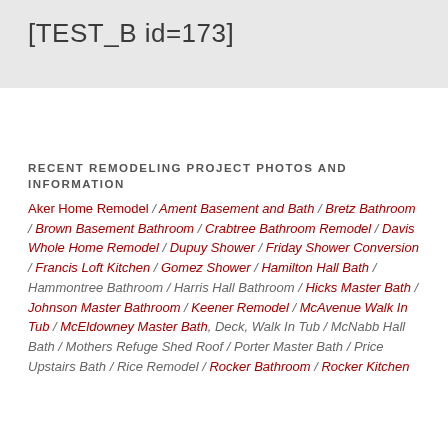[TEST_B id=173]
RECENT REMODELING PROJECT PHOTOS AND INFORMATION
Aker Home Remodel / Ament Basement and Bath / Bretz Bathroom / Brown Basement Bathroom / Crabtree Bathroom Remodel / Davis Whole Home Remodel / Dupuy Shower / Friday Shower Conversion / Francis Loft Kitchen / Gomez Shower / Hamilton Hall Bath / Hammontree Bathroom / Harris Hall Bathroom / Hicks Master Bath / Johnson Master Bathroom / Keener Remodel / McAvenue Walk In Tub / McEldowney Master Bath, Deck, Walk In Tub / McNabb Hall Bath / Mothers Refuge Shed Roof / Porter Master Bath / Price Upstairs Bath / Rice Remodel / Rocker Bathroom / Rocker Kitchen